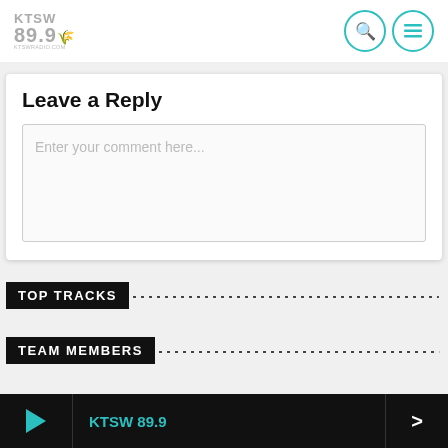[Figure (logo): KTSW 89.9 radio station logo, grey text with feather icon]
[Figure (other): Search icon and menu icon in teal circles]
Leave a Reply
Enter your comment here...
TOP TRACKS
TEAM MEMBERS
KTSW 89.9